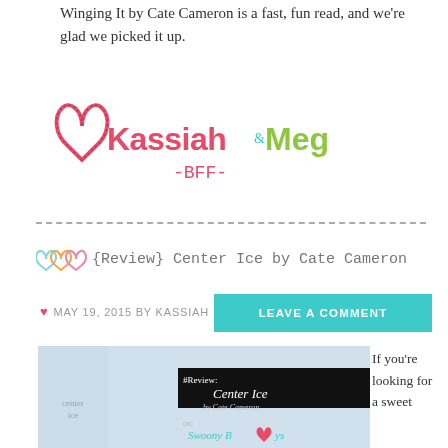Winging It by Cate Cameron is a fast, fun read, and we're glad we picked it up.
[Figure (logo): Kassiah & Meg BFF logo with decorative heart and colorful handwritten text]
[Figure (other): Dashed horizontal divider line]
♥♥♥ {Review} Center Ice by Cate Cameron
MAY 19, 2015 BY KASSIAH
LEAVE A COMMENT
[Figure (photo): Book cover and review graphic for Center Ice by Cate Cameron on Swoony Boys]
If you're looking for a sweet